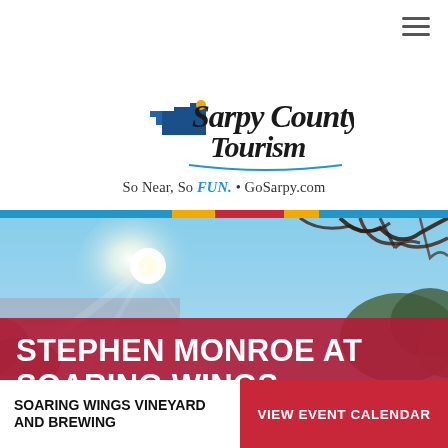Navigation menu icon
[Figure (logo): Sarpy County Tourism logo with Nebraska state shape silhouette, blue and gold colors, and a location pin dot. Script font reads 'Sarpy County Tourism'. Tagline: So Near, So FUN. • GoSarpy.com]
[Figure (photo): Outdoor nature photo with sunlight through trees, blue sky, tree branches visible against sky]
STEPHEN MONROE AT SOARING WINGS
SOARING WINGS VINEYARD AND BREWING
VIEW EVENT CALENDAR